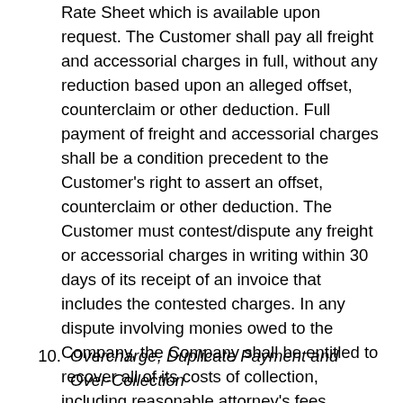Rate Sheet which is available upon request. The Customer shall pay all freight and accessorial charges in full, without any reduction based upon an alleged offset, counterclaim or other deduction. Full payment of freight and accessorial charges shall be a condition precedent to the Customer's right to assert an offset, counterclaim or other deduction. The Customer must contest/dispute any freight or accessorial charges in writing within 30 days of its receipt of an invoice that includes the contested charges. In any dispute involving monies owed to the Company, the Company shall be entitled to recover all of its costs of collection, including reasonable attorney's fees. Interest shall accrue on unpaid balances per the Company's Payment Terms and Conditions or, in the alternative, per the terms of any written agreement signed by the Company and the Customer.
10. Overcharge, Duplicate Payment and Over-Collection